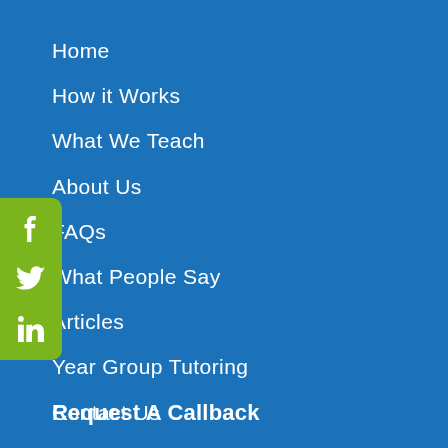Home
How it Works
What We Teach
About Us
FAQs
What People Say
Articles
Year Group Tutoring
Contact Us
[Figure (infographic): Green social media sidebar with Facebook, Twitter, and LinkedIn icons]
Request A Callback